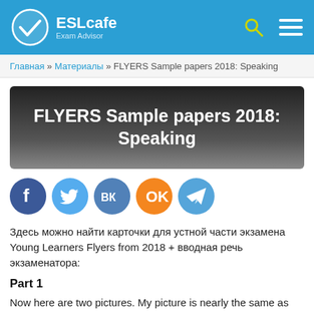ESLcafe Exam Advisor
Главная » Материалы » FLYERS Sample papers 2018: Speaking
FLYERS Sample papers 2018: Speaking
[Figure (other): Social media share buttons: Facebook, Twitter, VK, Odnoklassniki, Telegram]
Здесь можно найти карточки для устной части экзамена Young Learners Flyers from 2018 + вводная речь экзаменатора:
Part 1
Now here are two pictures. My picture is nearly the same as yours, but some things are different. For example, in